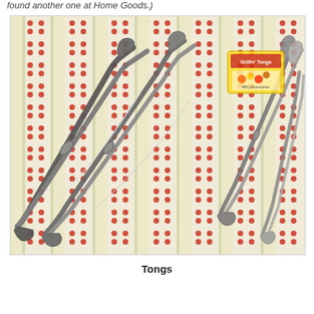found another one at Home Goods.)
[Figure (photo): Photograph of multiple stainless steel kitchen tongs laid out on a red and white striped/checkered cloth or tablecloth. One tong still has a yellow retail packaging tag attached. The tongs are various sizes and styles.]
Tongs